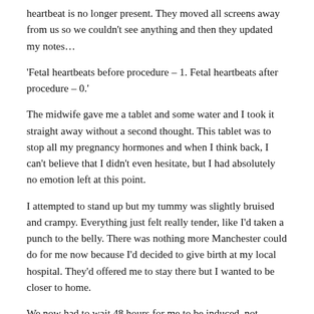heartbeat is no longer present. They moved all screens away from us so we couldn't see anything and then they updated my notes…
'Fetal heartbeats before procedure – 1. Fetal heartbeats after procedure – 0.'
The midwife gave me a tablet and some water and I took it straight away without a second thought. This tablet was to stop all my pregnancy hormones and when I think back, I can't believe that I didn't even hesitate, but I had absolutely no emotion left at this point.
I attempted to stand up but my tummy was slightly bruised and crampy. Everything just felt really tender, like I'd taken a punch to the belly. There was nothing more Manchester could do for me now because I'd decided to give birth at my local hospital. They'd offered me to stay there but I wanted to be closer to home.
We now had to wait 48 hours for me to be induced, not through any choice, but this was how long it took for the tablet to take effect. Originally, I had asked to go straight from hospital to hospital because I was too scared to go home. I was so worried that my waters would break and there'd be no one around to help. The biggest fear for me was giving birth to a stillborn baby at